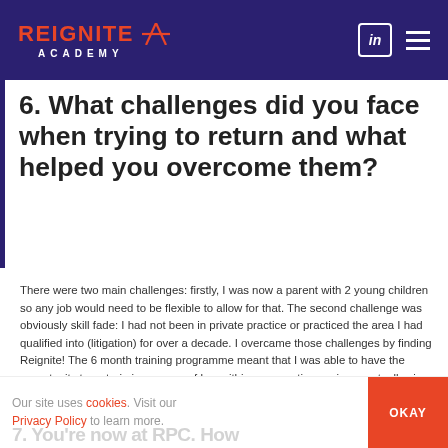REIGNITE ACADEMY
6. What challenges did you face when trying to return and what helped you overcome them?
There were two main challenges: firstly, I was now a parent with 2 young children so any job would need to be flexible to allow for that. The second challenge was obviously skill fade: I had not been in private practice or practiced the area I had qualified into (litigation) for over a decade. I overcame those challenges by finding Reignite! The 6 month training programme meant that I was able to have the opportunity to re-train in my area of law within a supportive environment, allowing me slowly to get up to speed. In addition, the Reignite team highlighted that many of the firms they dealt with had embraced flexible, part time working. This was clearly exactly what I needed.
Our site uses cookies. Visit our Privacy Policy to learn more.
7. You're now at RPC. How